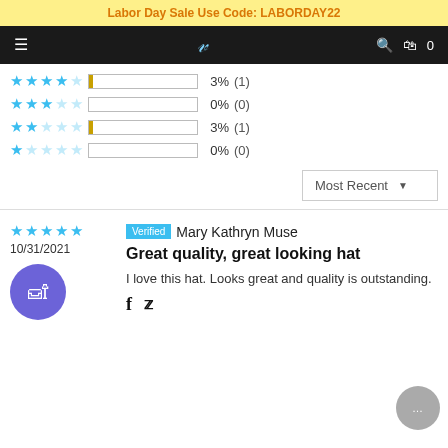Labor Day Sale Use Code: LABORDAY22
[Figure (screenshot): Navigation bar with hamburger menu, cursive logo, search icon, and shopping bag icon with 0 count]
| Stars | Bar | Percent | Count |
| --- | --- | --- | --- |
| 4 stars |  | 3% | (1) |
| 3 stars |  | 0% | (0) |
| 2 stars |  | 3% | (1) |
| 1 star |  | 0% | (0) |
Most Recent ▼
★★★★★  Verified  Mary Kathryn Muse
10/31/2021
Great quality, great looking hat
I love this hat. Looks great and quality is outstanding.